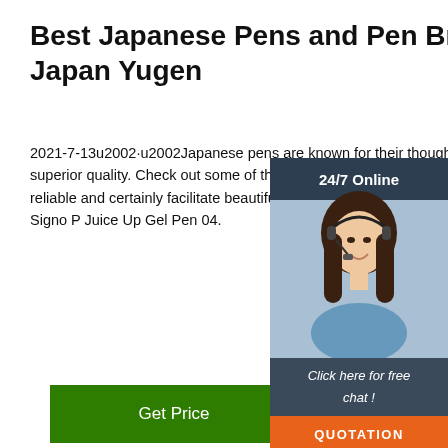Best Japanese Pens and Pen Brands - Japan Yugen
2021-7-13u2002·u2002Japanese pens are known for their thoughtful design and superior quality. Check out some of the best Japanese pens that have a pra and are reliable and certainly facilitate beautiful s endings. Pilot Hi-Tec-C Gel Pen. Uni-ball Signo P Juice Up Gel Pen 04.
[Figure (photo): Chat widget overlay showing a woman with headset, '24/7 Online' header, 'Click here for free chat!' text, and 'QUOTATION' orange button]
Get Price
[Figure (photo): Black dropper/pen cap object shown at bottom center]
[Figure (logo): TOP icon with orange dots arranged in triangle and bold orange TOP text]